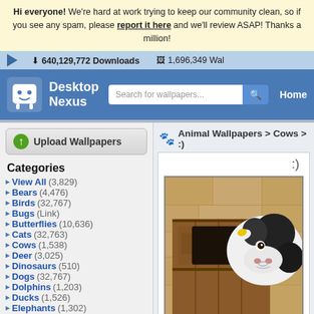Hi everyone! We're hard at work trying to keep our community clean, so if you see any spam, please report it here and we'll review ASAP!  Thanks a million!
640,129,772 Downloads   1,696,349 Wal
[Figure (screenshot): Desktop Nexus website header with logo, search bar, and Home navigation]
Upload Wallpapers
Categories
Animal Wallpapers > Cows > :)
:)
View All (3,829)
Bears (4,476)
Birds (32,767)
Bugs (Link)
Butterflies (10,636)
Cats (32,763)
Cows (1,538)
Deer (3,025)
Dinosaurs (510)
Dogs (32,767)
Dolphins (1,203)
Ducks (1,526)
Elephants (1,302)
Fish (3,162)
Frogs (5,710)
[Figure (photo): A black and white cow peering through an old wooden barn door/stable opening]